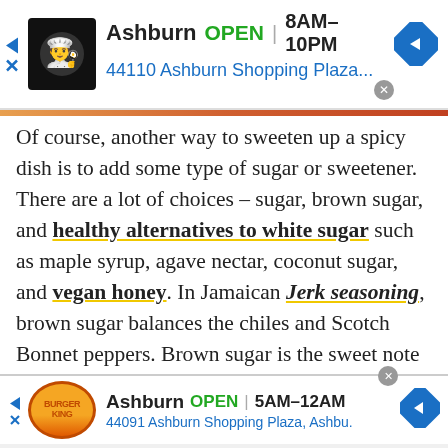[Figure (screenshot): Ad banner for a restaurant in Ashburn: OPEN 8AM-10PM, 44110 Ashburn Shopping Plaza...]
Of course, another way to sweeten up a spicy dish is to add some type of sugar or sweetener. There are a lot of choices – sugar, brown sugar, and healthy alternatives to white sugar such as maple syrup, agave nectar, coconut sugar, and vegan honey. In Jamaican Jerk seasoning, brown sugar balances the chiles and Scotch Bonnet peppers. Brown sugar is the sweet note to the Sriracha in
[Figure (screenshot): Ad banner for Burger King in Ashburn: OPEN 5AM-12AM, 44091 Ashburn Shopping Plaza, Ashbu.]